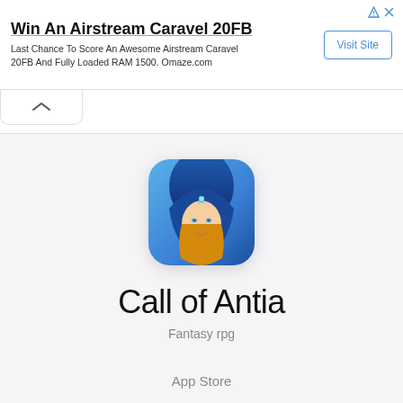[Figure (screenshot): Advertisement banner: Win An Airstream Caravel 20FB with Visit Site button]
Win An Airstream Caravel 20FB
Last Chance To Score An Awesome Airstream Caravel 20FB And Fully Loaded RAM 1500. Omaze.com
[Figure (illustration): Call of Antia fantasy RPG app icon showing a blonde woman in blue hood with a jeweled crown]
Call of Antia
Fantasy rpg
App Store